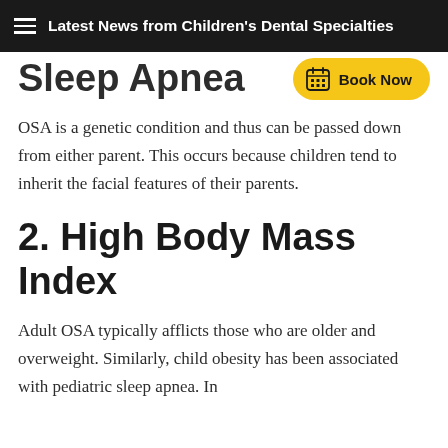Latest News from Children's Dental Specialties
Sleep Apnea
OSA is a genetic condition and thus can be passed down from either parent. This occurs because children tend to inherit the facial features of their parents.
2. High Body Mass Index
Adult OSA typically afflicts those who are older and overweight. Similarly, child obesity has been associated with pediatric sleep apnea. In